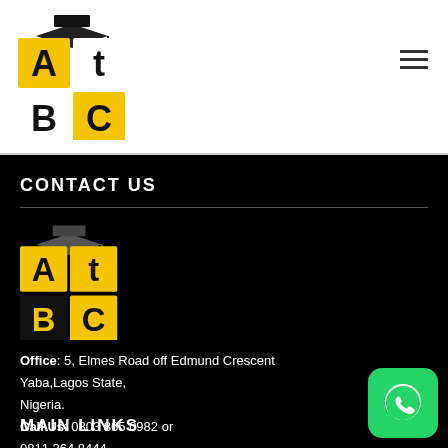[Figure (logo): ATBC logo with graduation cap, yellow and black blocks with letters A, T, B, C]
[Figure (illustration): Hamburger menu icon (three horizontal lines)]
CONTACT US
[Figure (logo): ATBC logo with graduation cap, yellow and black blocks with letters A, T, B, C (footer version)]
Office: 5, Elmes Road off Edmund Crescent Yaba,Lagos State, Nigeria.
Call Us: 0803 865 0982 or 0811 364 8444
MAIN LINKS
[Figure (illustration): WhatsApp icon button (green rounded square with phone/chat icon)]